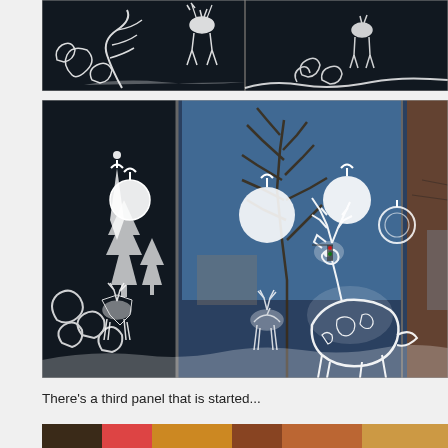[Figure (photo): Top photo: white painted Christmas window art on dark background showing reindeer, swirls, trees and decorative designs across multiple panes]
[Figure (photo): Middle photo: storefront windows with white painted Christmas decorations — ornament balls, reindeer, Christmas trees, sleigh and swirl designs. Street scene with bare tree reflected in glass, blue sky.]
There's a third panel that is started...
[Figure (photo): Partial bottom photo showing colorful storefront, partially cropped]